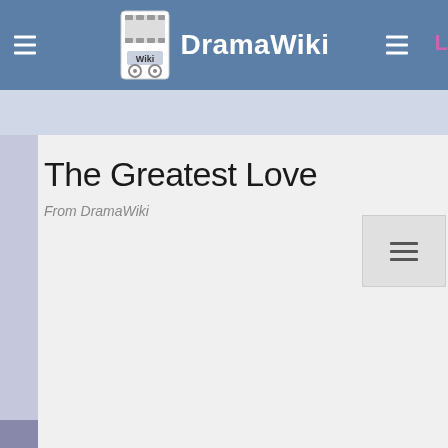DramaWiki
The Greatest Love
From DramaWiki